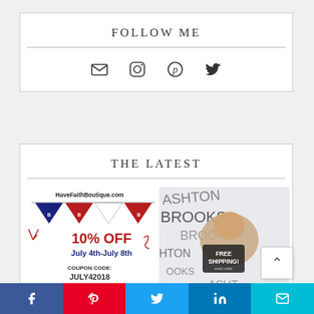FOLLOW ME
[Figure (infographic): Social media icons row: email envelope, Instagram camera, Pinterest P, Twitter bird]
THE LATEST
[Figure (photo): HaveFaithBoutique.com ad: patriotic bunting banners with 10% OFF July 4th-July 8th COUPON CODE: JULY42018]
[Figure (photo): Baby sleeping on word-art blanket with name BROOKS ASHTON, FREE SHIPPING overlay badge]
[Figure (infographic): Social share bar with Facebook, Pinterest, Twitter, LinkedIn, and Email buttons]